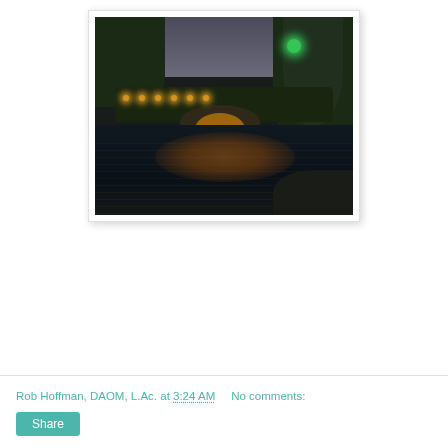[Figure (photo): Night photograph of a Chinese lake scene with illuminated stone arch bridge, weeping willow trees lit with warm golden lights, and dark water reflecting the bridge lights. A green spotlight is visible in the upper right area.]
Rob Hoffman, DAOM, L.Ac. at 3:24 AM    No comments:
Share